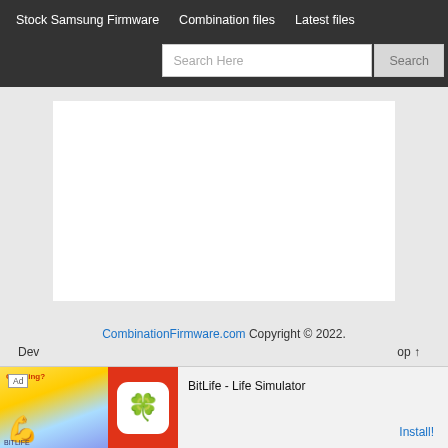Stock Samsung Firmware   Combination files   Latest files
[Figure (screenshot): Search bar with placeholder text 'Search Here' and a 'Search' button on dark background]
[Figure (other): White content area box on light gray background]
CombinationFirmware.com Copyright © 2022. Dev... op ↑
[Figure (other): Ad banner: BitLife - Life Simulator with Install button]